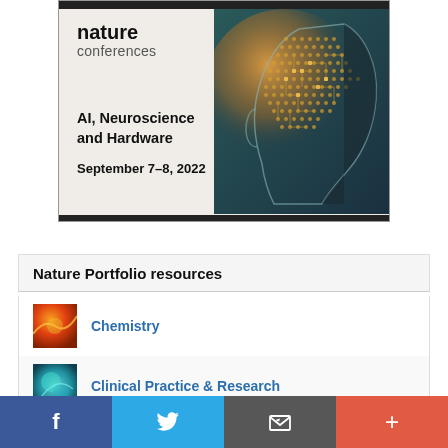[Figure (illustration): Nature Conferences banner ad for 'AI, Neuroscience and Hardware' conference, September 7-8 2022, featuring the Nature Conferences logo and an AI brain circuit illustration]
Tweets by @NatureAsia
Nature Portfolio resources
Chemistry
Clinical Practice & Research
[Figure (infographic): Bottom social share bar with Facebook, Twitter, email/save, and more (+) buttons]